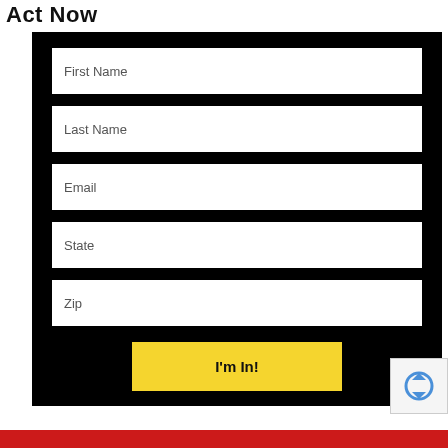Act Now
First Name
Last Name
Email
State
Zip
I'm In!
[Figure (other): reCAPTCHA badge with rotating arrows icon]